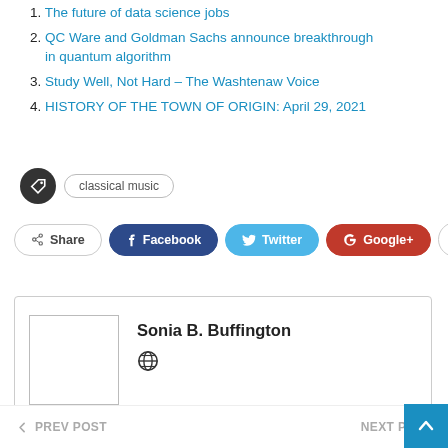1. The future of data science jobs
2. QC Ware and Goldman Sachs announce breakthrough in quantum algorithm
3. Study Well, Not Hard – The Washtenaw Voice
4. HISTORY OF THE TOWN OF ORIGIN: April 29, 2021
classical music
Share  Facebook  Twitter  Google+  +
Sonia B. Buffington
PREV POST   NEXT POST